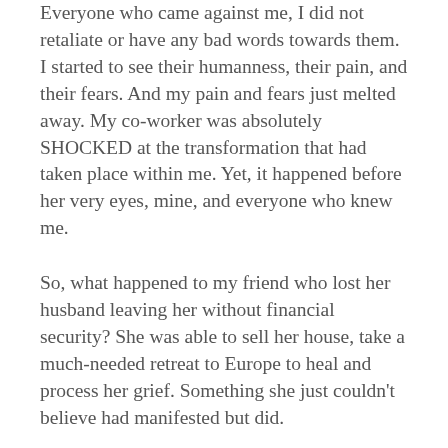Everyone who came against me, I did not retaliate or have any bad words towards them. I started to see their humanness, their pain, and their fears. And my pain and fears just melted away. My co-worker was absolutely SHOCKED at the transformation that had taken place within me. Yet, it happened before her very eyes, mine, and everyone who knew me.
So, what happened to my friend who lost her husband leaving her without financial security? She was able to sell her house, take a much-needed retreat to Europe to heal and process her grief. Something she just couldn't believe had manifested but did.
Her daughter who opened her new business and was worried about its success? Is thriving! The